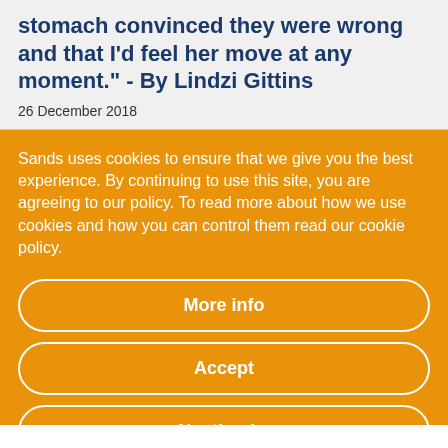stomach convinced they were wrong and that I'd feel her move at any moment." - By Lindzi Gittins
26 December 2018
Sands uses cookies to ensure that we give you the best experience. By continuing to use this site, you are agreeing to our policy. To read more about how we use cookies and how you can control them read our cookie policy.
More info
Accept
No, thanks